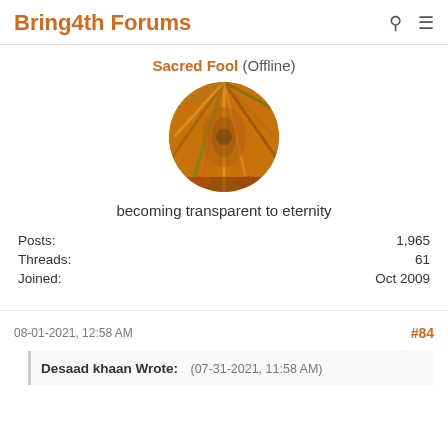Bring4th Forums
Sacred Fool (Offline)
[Figure (photo): Circular avatar image with colorful swirling orange, yellow, green and red pattern]
becoming transparent to eternity
| Posts: | 1,965 |
| Threads: | 61 |
| Joined: | Oct 2009 |
08-01-2021, 12:58 AM    #84
Desaad khaan Wrote:   (07-31-2021, 11:58 AM)